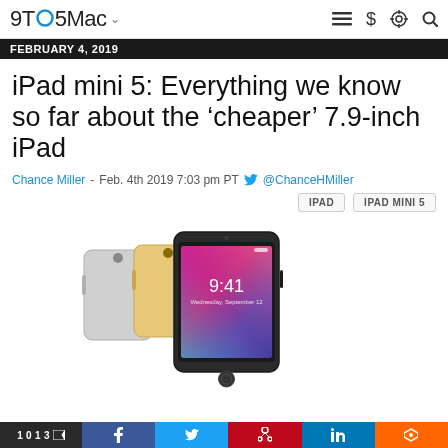9TO5Mac
FEBRUARY 4, 2019
iPad mini 5: Everything we know so far about the 'cheaper' 7.9-inch iPad
Chance Miller - Feb. 4th 2019 7:03 pm PT @ChanceHMiller
IPAD   IPAD MINI 5
[Figure (photo): Three iPad mini devices shown from behind and front, in silver, gold, and space gray colors. The front device shows a lock screen with time 9:41.]